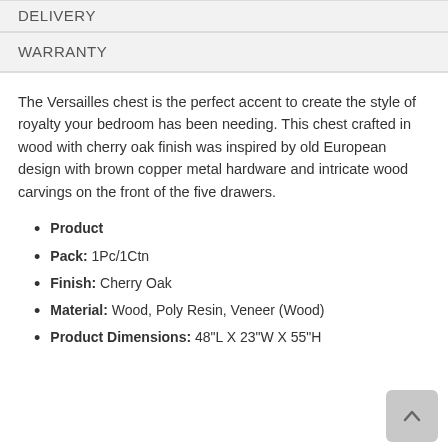DELIVERY
WARRANTY
The Versailles chest is the perfect accent to create the style of royalty your bedroom has been needing. This chest crafted in wood with cherry oak finish was inspired by old European design with brown copper metal hardware and intricate wood carvings on the front of the five drawers.
Product
Pack: 1Pc/1Ctn
Finish: Cherry Oak
Material: Wood, Poly Resin, Veneer (Wood)
Product Dimensions: 48"L X 23"W X 55"H